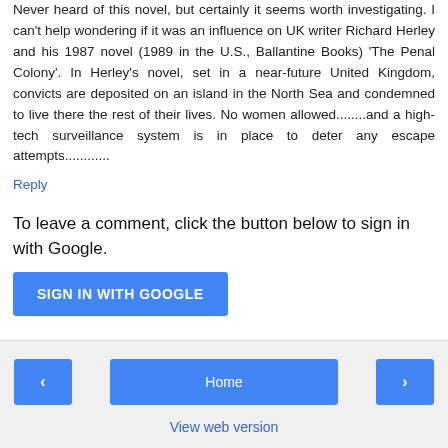Never heard of this novel, but certainly it seems worth investigating. I can't help wondering if it was an influence on UK writer Richard Herley and his 1987 novel (1989 in the U.S., Ballantine Books) 'The Penal Colony'. In Herley's novel, set in a near-future United Kingdom, convicts are deposited on an island in the North Sea and condemned to live there the rest of their lives. No women allowed........and a high-tech surveillance system is in place to deter any escape attempts............
Reply
To leave a comment, click the button below to sign in with Google.
SIGN IN WITH GOOGLE
‹   Home   ›   View web version